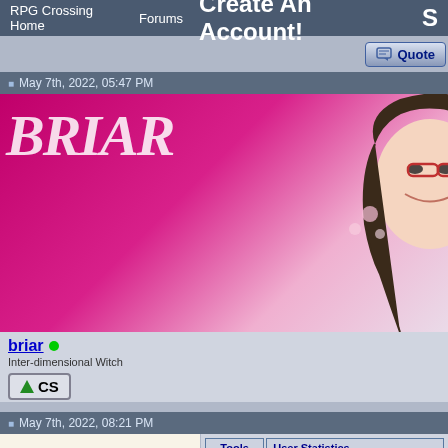RPG Crossing Home   Forums   Create An Account!
[Figure (screenshot): Quote button in top right area]
May 7th, 2022, 05:47 PM
[Figure (illustration): Avatar image for user briar - anime-style girl with glasses, pink/magenta background with BRIAR text]
briar
Inter-dimensional Witch
CS
Tools
Profile
Send PM
User St...
Last Visit:
RPXP: 58
Posts: 2,7
Show Spoiler about Withdrawn
My Ca...
-- She/They -- Lady Guuji -- High Queen of...
Last edited by briar; May 16th, 2022 at 11:09 PM.
May 7th, 2022, 08:21 PM
[Figure (illustration): Avatar image for second user Runetide - cartoon character with large red/orange eyes]
Runetide
Tools
Profile
Send PM
User Statistics
Last Visit: Aug 22nd, 20...
RPXP: 9659